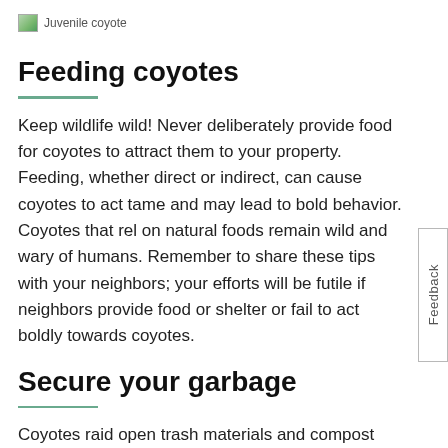[Figure (photo): Broken image placeholder labeled 'Juvenile coyote']
Feeding coyotes
Keep wildlife wild! Never deliberately provide food for coyotes to attract them to your property. Feeding, whether direct or indirect, can cause coyotes to act tame and may lead to bold behavior. Coyotes that rely on natural foods remain wild and wary of humans. Remember to share these tips with your neighbors; your efforts will be futile if neighbors provide food or shelter or fail to act boldly towards coyotes.
Secure your garbage
Coyotes raid open trash materials and compost piles. Secure your garbage in tough plastic containers with